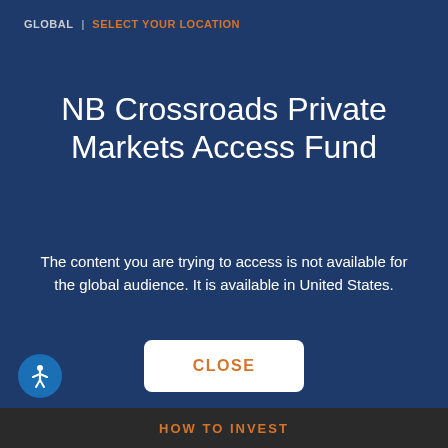GLOBAL | SELECT YOUR LOCATION
NB Crossroads Private Markets Access Fund
The content you are trying to access is not available for the global audience. It is available in United States.
[Figure (other): CLOSE button — white rounded rectangle with orange bold text reading CLOSE]
[Figure (other): Accessibility icon — blue circle with white person/wheelchair symbol]
HOW TO INVEST